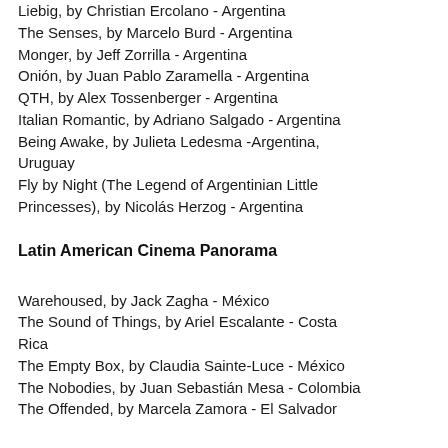Liebig, by Christian Ercolano - Argentina
The Senses, by Marcelo Burd - Argentina
Monger, by Jeff Zorrilla - Argentina
Onión, by Juan Pablo Zaramella - Argentina
QTH, by Alex Tossenberger - Argentina
Italian Romantic, by Adriano Salgado - Argentina
Being Awake, by Julieta Ledesma -Argentina, Uruguay
Fly by Night (The Legend of Argentinian Little Princesses), by Nicolás Herzog - Argentina
Latin American Cinema Panorama
Warehoused, by Jack Zagha - México
The Sound of Things, by Ariel Escalante - Costa Rica
The Empty Box, by Claudia Sainte-Luce - México
The Nobodies, by Juan Sebastián Mesa - Colombia
The Offended, by Marcela Zamora - El Salvador